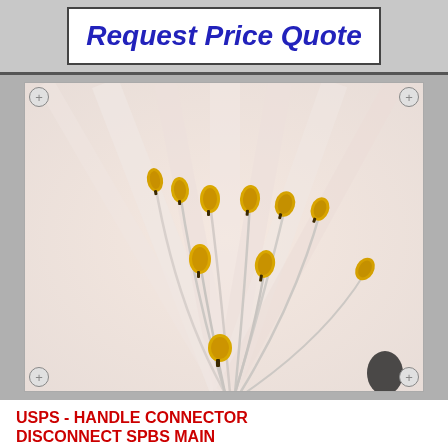Request Price Quote
[Figure (photo): Close-up macro photo of white flower stamens with yellow pollen tips against a soft white blurred background]
USPS - HANDLE CONNECTOR DISCONNECT SPBS MAIN
APBS - HANDLE CONNECTOR DISCONNECT SPBS MAIN
Handle Connector #4, SPBS Main Circuit Breaker
KORE #: N/A
USPS #: 2000606
NSN #: 5340-12...